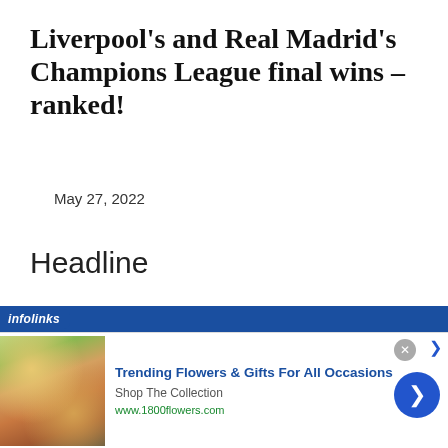Liverpool's and Real Madrid's Champions League final wins – ranked!
May 27, 2022
Headline
[Figure (screenshot): Infolinks advertisement bar with blue background and italic 'infolinks' label]
[Figure (photo): Advertisement for 1800flowers.com showing a woman with flowers. Title: Trending Flowers & Gifts For All Occasions. Subtitle: Shop The Collection. URL: www.1800flowers.com]